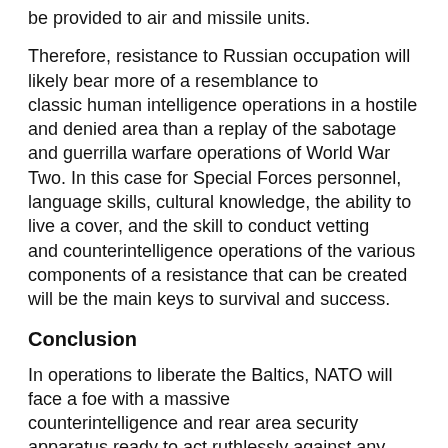be provided to air and missile units.
Therefore, resistance to Russian occupation will likely bear more of a resemblance to classic human intelligence operations in a hostile and denied area than a replay of the sabotage and guerrilla warfare operations of World War Two. In this case for Special Forces personnel, language skills, cultural knowledge, the ability to live a cover, and the skill to conduct vetting and counterintelligence operations of the various components of a resistance that can be created will be the main keys to survival and success.
Conclusion
In operations to liberate the Baltics, NATO will face a foe with a massive counterintelligence and rear area security apparatus ready to act ruthlessly against any signs of resistance. The UWOA will be constrained by the lack of a